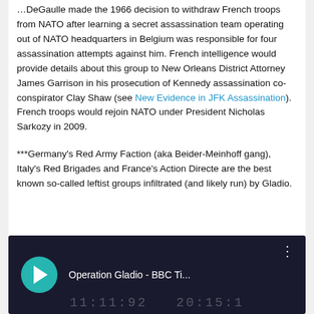DeGaulle made the 1966 decision to withdraw French troops from NATO after learning a secret assassination team operating out of NATO headquarters in Belgium was responsible for four assassination attempts against him. French intelligence would provide details about this group to New Orleans District Attorney James Garrison in his prosecution of Kennedy assassination co-conspirator Clay Shaw (see New Evidence in JFK Assassination). French troops would rejoin NATO under President Nicholas Sarkozy in 2009.
***Germany's Red Army Faction (aka Beider-Meinhoff gang), Italy's Red Brigades and France's Action Directe are the best known so-called leftist groups infiltrated (and likely run) by Gladio.
[Figure (screenshot): YouTube video thumbnail showing 'Operation Gladio - BBC Ti...' with a teal play button circle and three-dot menu icon on a dark background]